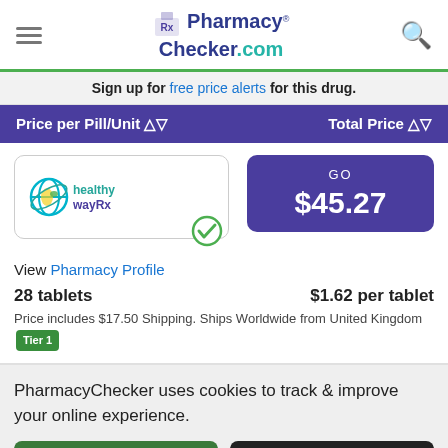[Figure (logo): PharmacyChecker.com logo with hamburger menu and search icon]
Sign up for free price alerts for this drug.
Price per Pill/Unit ⇕    Total Price ⇕
[Figure (logo): healthywayRx pharmacy logo with green checkmark badge]
GO $45.27
View Pharmacy Profile
28 tablets    $1.62 per tablet
Price includes $17.50 Shipping. Ships Worldwide from United Kingdom Tier 1
PharmacyChecker uses cookies to track & improve your online experience.
Read More    Close